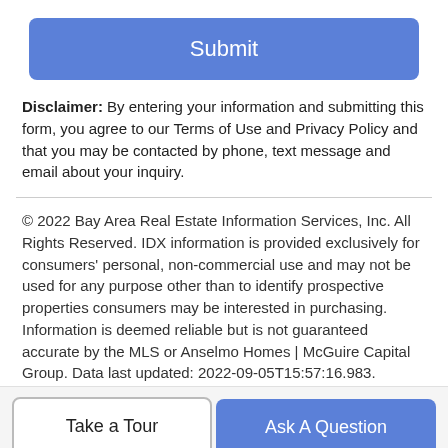Submit
Disclaimer: By entering your information and submitting this form, you agree to our Terms of Use and Privacy Policy and that you may be contacted by phone, text message and email about your inquiry.
© 2022 Bay Area Real Estate Information Services, Inc. All Rights Reserved. IDX information is provided exclusively for consumers' personal, non-commercial use and may not be used for any purpose other than to identify prospective properties consumers may be interested in purchasing. Information is deemed reliable but is not guaranteed accurate by the MLS or Anselmo Homes | McGuire Capital Group. Data last updated: 2022-09-05T15:57:16.983.
Take a Tour
Ask A Question